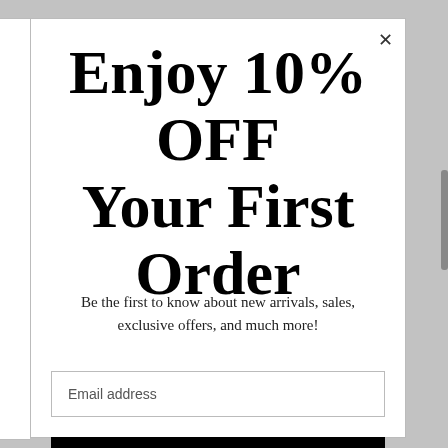Enjoy 10% OFF Your First Order
Be the first to know about new arrivals, sales, exclusive offers, and much more!
Email address